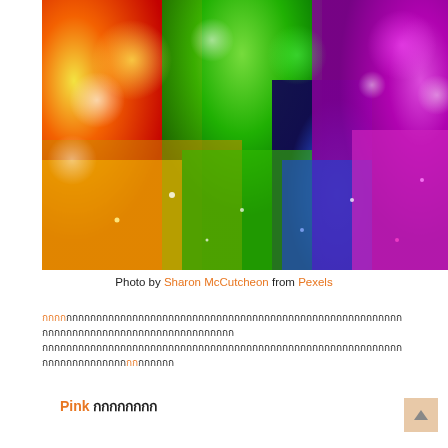[Figure (photo): Close-up macro photo of colorful rainbow glitter sparkles arranged from red/orange/yellow on the left through green in the middle to blue and pink/magenta on the right, with bokeh light effects in the background.]
Photo by Sharon McCutcheon from Pexels
Thai body text paragraph 1 with orange-highlighted first few characters
Thai body text paragraph 2 with orange-highlighted characters near end
Pink (Thai characters)